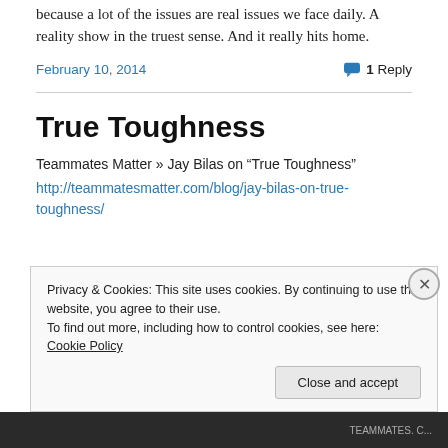because a lot of the issues are real issues we face daily. A reality show in the truest sense. And it really hits home.
February 10, 2014
1 Reply
True Toughness
Teammates Matter » Jay Bilas on “True Toughness”
http://teammatesmatter.com/blog/jay-bilas-on-true-toughness/
Privacy & Cookies: This site uses cookies. By continuing to use this website, you agree to their use.
To find out more, including how to control cookies, see here: Cookie Policy
Close and accept